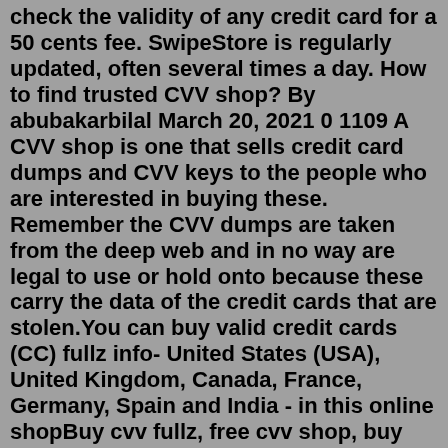check the validity of any credit card for a 50 cents fee. SwipeStore is regularly updated, often several times a day. How to find trusted CVV shop? By abubakarbilal March 20, 2021 0 1109 A CVV shop is one that sells credit card dumps and CVV keys to the people who are interested in buying these. Remember the CVV dumps are taken from the deep web and in no way are legal to use or hold onto because these carry the data of the credit cards that are stolen.You can buy valid credit cards (CC) fullz info- United States (USA), United Kingdom, Canada, France, Germany, Spain and India - in this online shopBuy cvv fullz, free cvv shop, buy bitcoin with cvv. Latest CVV 2021. STARCVV | CVV SHOP | BUY CC. It is hard to get a legit CVV site on the internet or darkweb because there are lot of scam website exists nowadays. How to get credit card dumps. best cvv dump site, cvv full name, best cvv, cvv2 number on credit card, free credit card dumps with ... -Best cvv site buy cc Valid cc, buy cvv fullz good balance . Trusted cvv shop and dumps high quality. Automated